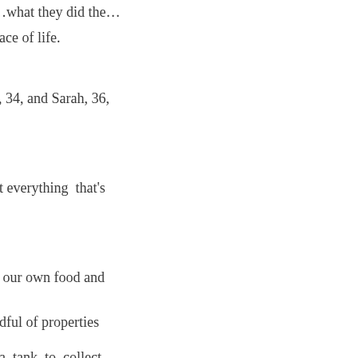…what they did the…
pace of life.
e, 34, and Sarah, 36,
ut everything  that's
g our own food and
ndful of properties
, a  tank  to  collect